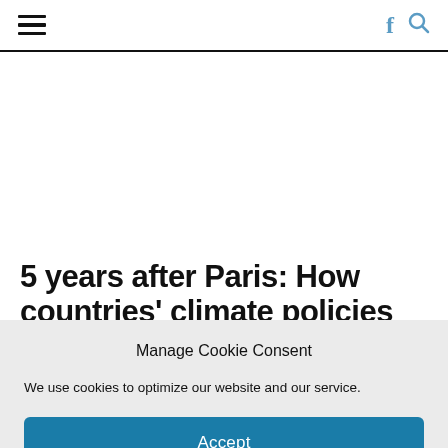≡  f 🔍
5 years after Paris: How countries' climate policies match up to their
Manage Cookie Consent
We use cookies to optimize our website and our service.
Accept